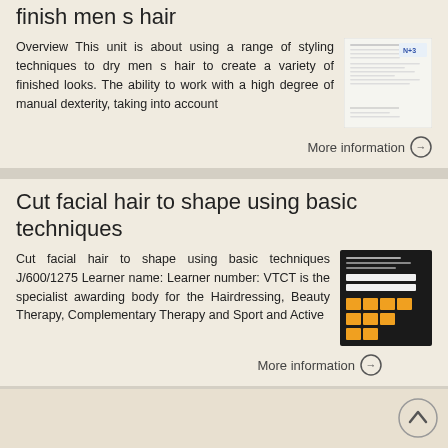finish men s hair
Overview This unit is about using a range of styling techniques to dry men s hair to create a variety of finished looks. The ability to work with a high degree of manual dexterity, taking into account
[Figure (screenshot): Thumbnail image of a document with N+3 logo]
More information →
Cut facial hair to shape using basic techniques
Cut facial hair to shape using basic techniques J/600/1275 Learner name: Learner number: VTCT is the specialist awarding body for the Hairdressing, Beauty Therapy, Complementary Therapy and Sport and Active
[Figure (screenshot): Thumbnail image of a dark document with orange grid/blocks]
More information →